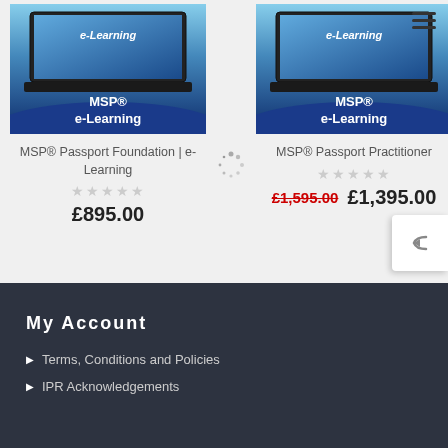[Figure (photo): MSP e-Learning laptop product image for MSP Passport Foundation]
[Figure (photo): MSP e-Learning laptop product image for MSP Passport Practitioner]
MSP® Passport Foundation | e-Learning
MSP® Passport Practitioner
£895.00
£1,595.00 £1,395.00
My Account
Terms, Conditions and Policies
IPR Acknowledgements